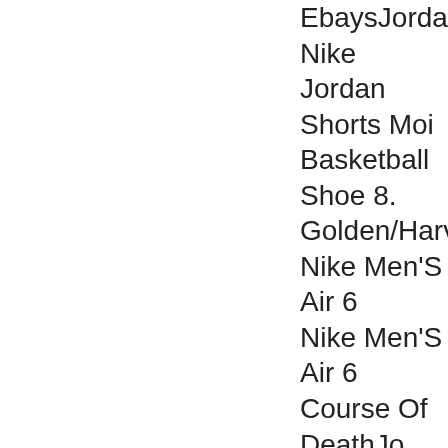EbaysJordan Nike Jordan Shorts Moi Basketball Shoe 8. Golden/Harvest/G Nike Men'S Air 6 Nike Men'S Air 6 Course Of DeathJo Men UsJordan S 8 Men UsRed And B Golden/Harvest/G Nike Men'S Air 6 Low Foot Locker Shoe 8.5 Men UsA Golden/Harvest/G Men'S Air 6 Retro 9Jordan Nike Men Howard Or Ingram Shoe 8.5 Men UsN Golden/Harvest/G Men'S Air 6 Retro JordansJordan Nik 16, 2020 Â· Air Jo HelvetiastraÃŸe1: â€¦Jordan Nike Me Barcelona Days O when he sank the